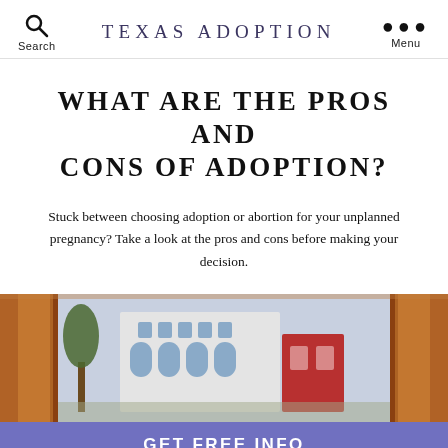Search  TEXAS ADOPTION  Menu
WHAT ARE THE PROS AND CONS OF ADOPTION?
Stuck between choosing adoption or abortion for your unplanned pregnancy? Take a look at the pros and cons before making your decision.
[Figure (photo): Photo of a house viewed through wooden curtains/window frame]
GET FREE INFO